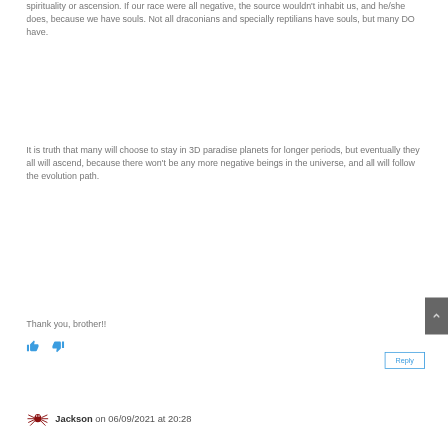spirituality or ascension. If our race were all negative, the source wouldn't inhabit us, and he/she does, because we have souls. Not all draconians and specially reptilians have souls, but many DO have.
It is truth that many will choose to stay in 3D paradise planets for longer periods, but eventually they all will ascend, because there won't be any more negative beings in the universe, and all will follow the evolution path.
Thank you, brother!!
[Figure (illustration): Thumbs up and thumbs down reaction icons in blue]
[Figure (illustration): Reply button with blue border]
[Figure (illustration): Scroll to top button (dark gray with up chevron)]
Jackson on 06/09/2021 at 20:28